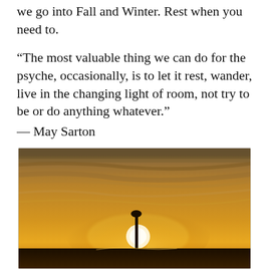we go into Fall and Winter. Rest when you need to.
“The most valuable thing we can do for the psyche, occasionally, is to let it rest, wander, live in the changing light of room, not try to be or do anything whatever.”
— May Sarton
[Figure (photo): A golden sunset over a dark horizon with silhouette of a bird perched on a post, dramatic sky with streaks of clouds lit in orange and gold tones.]